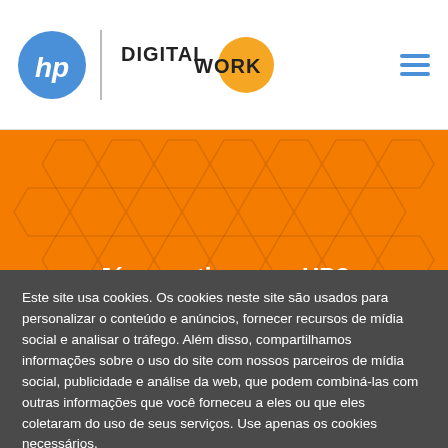[Figure (logo): HP blue circular logo with stylized 'hp' text in white, followed by a vertical divider, then 'DIGITAL WORK' text with orange circular accent]
[Figure (illustration): Orange background with dark honeycomb hexagon pattern overlay and bold white text 'Já garantiu o seu HP?' at the bottom]
Já garantiu o seu HP?
Este site usa cookies. Os cookies neste site são usados para personalizar o conteúdo e anúncios, fornecer recursos de mídia social e analisar o tráfego. Além disso, compartilhamos informações sobre o uso do site com nossos parceiros de mídia social, publicidade e análise da web, que podem combiná-las com outras informações que você forneceu a eles ou que eles coletaram do uso de seus serviços. Use apenas os cookies necessários.
Política de Privacidade
Aceitar
Rejeitar